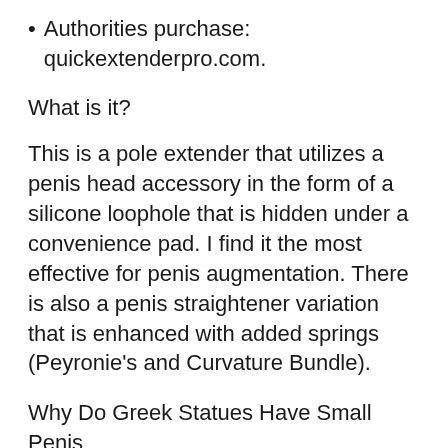Authorities purchase: quickextenderpro.com.
What is it?
This is a pole extender that utilizes a penis head accessory in the form of a silicone loophole that is hidden under a convenience pad. I find it the most effective for penis augmentation. There is also a penis straightener variation that is enhanced with added springs (Peyronie’s and Curvature Bundle).
Why Do Greek Statues Have Small Penis
Why select this penis extending gadget?